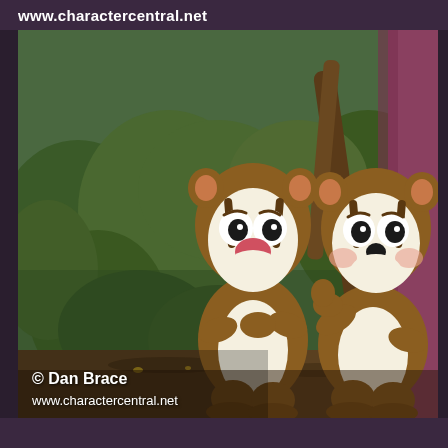www.charactercentral.net
[Figure (photo): Two Disney character mascots — Chip and Dale chipmunk costumes — standing together outdoors in front of green hedges and trees. The left figure (Chip) has arms crossed, with a large red nose. The right figure (Dale) has a smaller black nose and is pointing with one finger. Both are in full brown and cream fur suits with large cartoon eyes.]
© Dan Brace
www.charactercentral.net
www.charactercentral.net